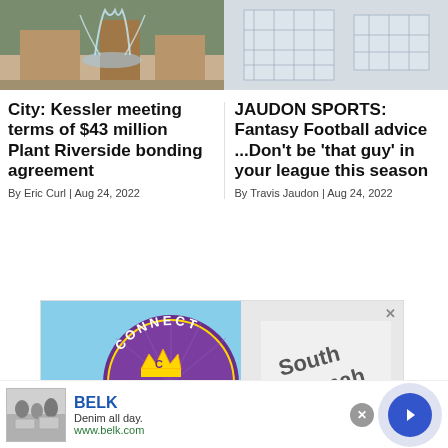[Figure (photo): Outdoor fountain with water jets, brick and stone architecture in background]
[Figure (photo): Architectural blueprints or floor plan drawings on paper]
City: Kessler meeting terms of $43 million Plant Riverside bonding agreement
By Eric Curl | Aug 24, 2022
JAUDON SPORTS: Fantasy Football advice ...Don't be 'that guy' in your league this season
By Travis Jaudon | Aug 24, 2022
[Figure (infographic): Connect Best of Savannah 2022 advertisement badge with purple circular logo and crown, alongside South Savannah dealership building]
[Figure (infographic): Belk advertisement: Denim all day. www.belk.com with people photo and navigation arrow]